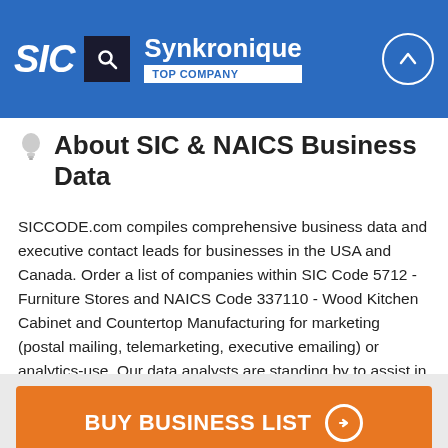SIC | Synkronique | TOP COMPANY
About SIC & NAICS Business Data
SICCODE.com compiles comprehensive business data and executive contact leads for businesses in the USA and Canada. Order a list of companies within SIC Code 5712 - Furniture Stores and NAICS Code 337110 - Wood Kitchen Cabinet and Countertop Manufacturing for marketing (postal mailing, telemarketing, executive emailing) or analytics-use. Our data analysts are standing by to assist in your list setup and target marketing.
BUY BUSINESS LIST